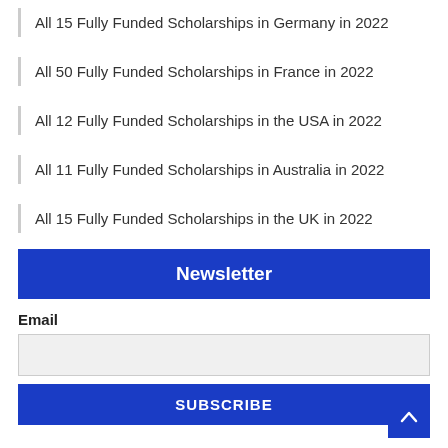All 15 Fully Funded Scholarships in Germany in 2022
All 50 Fully Funded Scholarships in France in 2022
All 12 Fully Funded Scholarships in the USA in 2022
All 11 Fully Funded Scholarships in Australia in 2022
All 15 Fully Funded Scholarships in the UK in 2022
Newsletter
Email
SUBSCRIBE